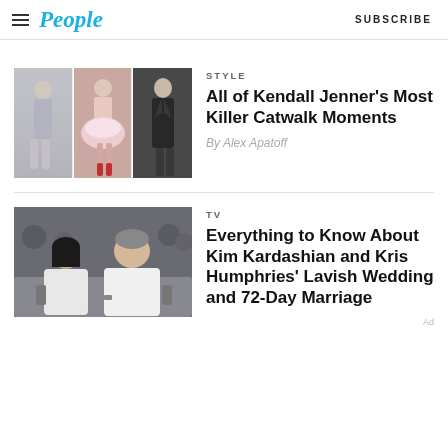People | SUBSCRIBE
[Figure (photo): Three fashion runway photos of Kendall Jenner in different outfits: silver metallic mini dress, pink tutu/ballerina dress, and black jacket look]
STYLE
All of Kendall Jenner’s Most Killer Catwalk Moments
By Alex Apatoff
[Figure (photo): Kim Kardashian and Kris Humphries seated side by side at a fashion event, audience visible in background]
TV
Everything to Know About Kim Kardashian and Kris Humphries’ Lavish Wedding and 72-Day Marriage
Ad